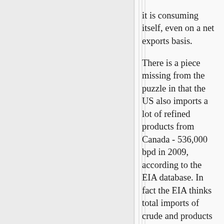it is consuming itself, even on a net exports basis.

There is a piece missing from the puzzle in that the US also imports a lot of refined products from Canada - 536,000 bpd in 2009, according to the EIA database. In fact the EIA thinks total imports of crude and products from Canada were up 881,000 bpd over the period 1998-2009, and if you subtract the 51,000 bpd